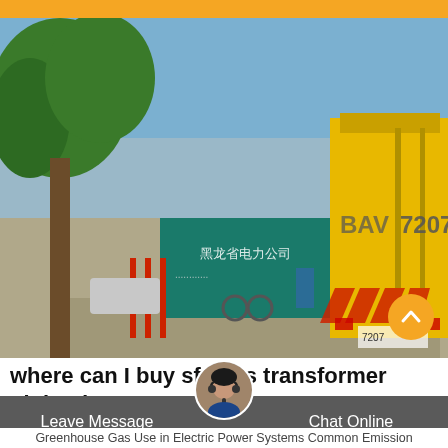[Figure (photo): A yellow truck (marked BAV 7207 with red and yellow chevron pattern) on a road in China, with trees and a green sign for a power company in the background, blue sky visible.]
where can I buy sf6 gas transformer Finland
Leave Message   Chat Online
Greenhouse Gas Use in Electric Power Systems Common Emission